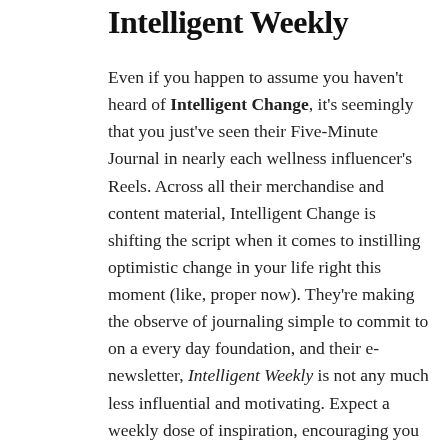Intelligent Weekly
Even if you happen to assume you haven't heard of Intelligent Change, it's seemingly that you just've seen their Five-Minute Journal in nearly each wellness influencer's Reels. Across all their merchandise and content material, Intelligent Change is shifting the script when it comes to instilling optimistic change in your life right this moment (like, proper now). They're making the observe of journaling simple to commit to on a every day foundation, and their e-newsletter, Intelligent Weekly is not any much less influential and motivating. Expect a weekly dose of inspiration, encouraging you to observe gratitude, domesticate emotional intelligence, and have interaction in self-reflection. Yes, your inbox is able to wonders.